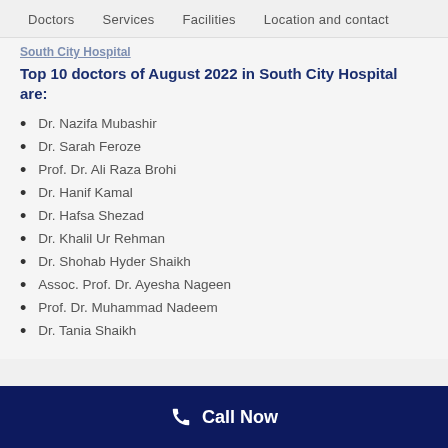Doctors   Services   Facilities   Location and contact
South City Hospital
Top 10 doctors of August 2022 in South City Hospital are:
Dr. Nazifa Mubashir
Dr. Sarah Feroze
Prof. Dr. Ali Raza Brohi
Dr. Hanif Kamal
Dr. Hafsa Shezad
Dr. Khalil Ur Rehman
Dr. Shohab Hyder Shaikh
Assoc. Prof. Dr. Ayesha Nageen
Prof. Dr. Muhammad Nadeem
Dr. Tania Shaikh
Call Now